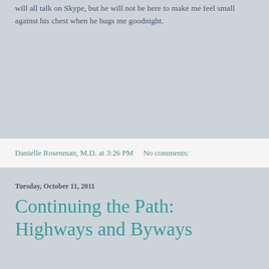will all talk on Skype, but he will not be here to make me feel small against his chest when he hugs me goodnight.
Danielle Rosenman, M.D. at 3:26 PM     No comments:
Tuesday, October 11, 2011
Continuing the Path: Highways and Byways
Do you remember when girls were overtly discouraged from